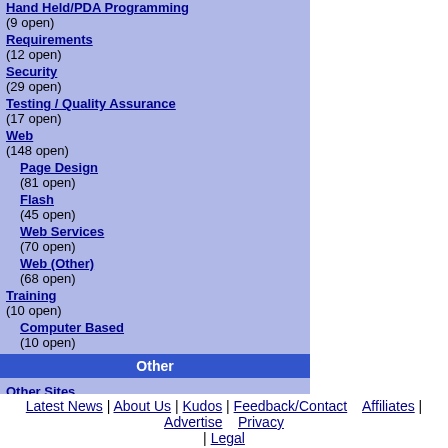Hand Held/PDA Programming (9 open)
Requirements (12 open)
Security (29 open)
Testing / Quality Assurance (17 open)
Web (148 open)
Page Design (81 open)
Flash (45 open)
Web Services (70 open)
Web (Other) (68 open)
Training (10 open)
Computer Based (10 open)
Other
Other Sites
Download the free Rent A Coder IE toolbar!
Latest News | About Us | Kudos | Feedback/Contact   Affiliates | Advertise   Privacy | Legal